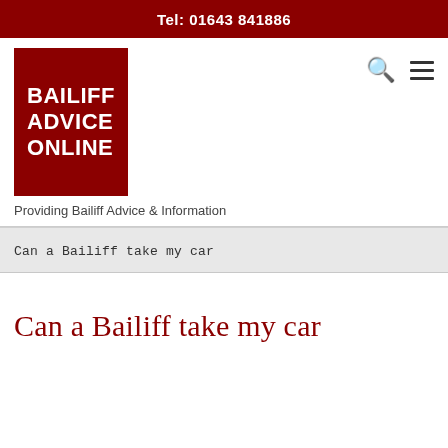Tel: 01643 841886
[Figure (logo): Bailiff Advice Online logo — dark red square with white bold text reading BAILIFF ADVICE ONLINE]
Providing Bailiff Advice & Information
Can a Bailiff take my car
Can a Bailiff take my car